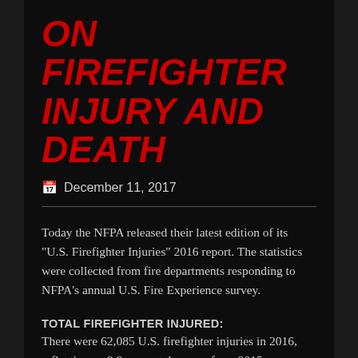ON FIREFIGHTER INJURY AND DEATH
December 11, 2017
Today the NFPA released their latest edition of its "U.S. Firefighter Injuries" 2016 report. The statistics were collected from fire departments responding to NFPA's annual U.S. Fire Experience survey.
TOTAL FIREFIGHTER INJURED:
There were 62,085 U.S. firefighter injuries in 2016, reflecting an 8.8 percent decrease from 2015.